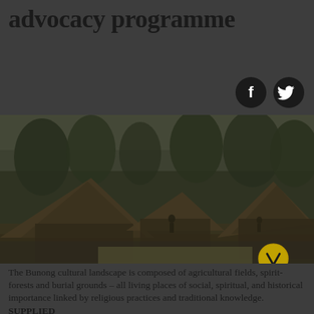advocacy programme
[Figure (illustration): Two dark circular social media icon buttons on dark grey background — Facebook (f) icon and Twitter (bird) icon]
[Figure (photo): A dimly lit village scene with thatched-roof huts among trees in a foggy or overcast setting. A chevron/down-arrow button overlaid at bottom right of image.]
The Bunong cultural landscape is composed of agricultural fields, spirit-forests and burial grounds – all living places of social, spiritual, and historical importance linked by religious practices and traditional knowledge. SUPPLIED